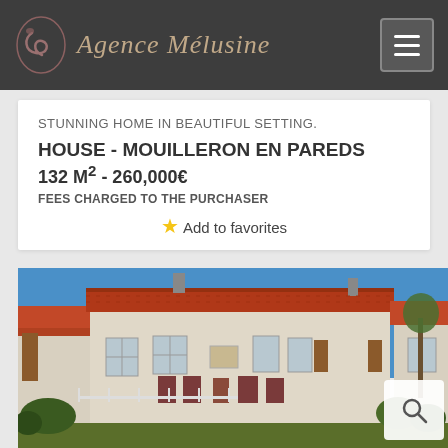Agence Mélusine
STUNNING HOME IN BEAUTIFUL SETTING.
HOUSE - MOUILLERON EN PAREDS
132 M² - 260,000€
FEES CHARGED TO THE PURCHASER
Add to favorites
[Figure (photo): Exterior photo of a traditional French stone farmhouse with terracotta tile roof, brown shutters, white facade, blue sky background, and garden in foreground]